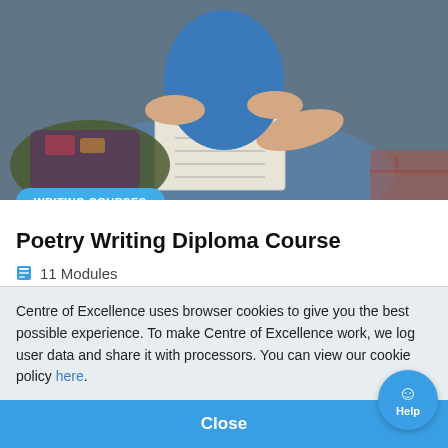[Figure (photo): Photo of a person sitting outdoors writing in a notebook, with a colorful bag nearby]
WRITING COURSES
Poetry Writing Diploma Course
11 Modules
Wishlist
0% Finance
US$154.20
Centre of Excellence uses browser cookies to give you the best possible experience. To make Centre of Excellence work, we log user data and share it with processors. You can view our cookie policy here.
Close